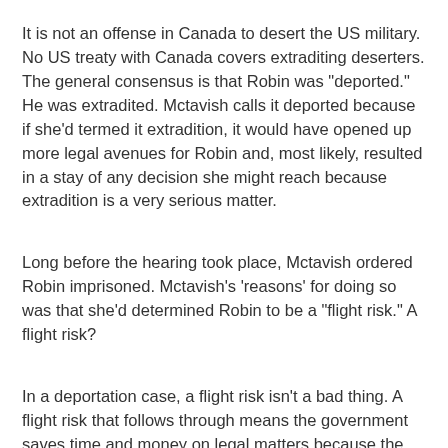It is not an offense in Canada to desert the US military. No US treaty with Canada covers extraditing deserters. The general consensus is that Robin was "deported." He was extradited. Mctavish calls it deported because if she'd termed it extradition, it would have opened up more legal avenues for Robin and, most likely, resulted in a stay of any decision she might reach because extradition is a very serious matter.
Long before the hearing took place, Mctavish ordered Robin imprisoned. Mctavish's 'reasons' for doing so was that she'd determined Robin to be a "flight risk." A flight risk?
In a deportation case, a flight risk isn't a bad thing. A flight risk that follows through means the government saves time and money on legal matters because the issue is resolved by the person leaving the country. Her labeling Robin a "flight risk" and confining him was unnecessary, unwarranted, and...